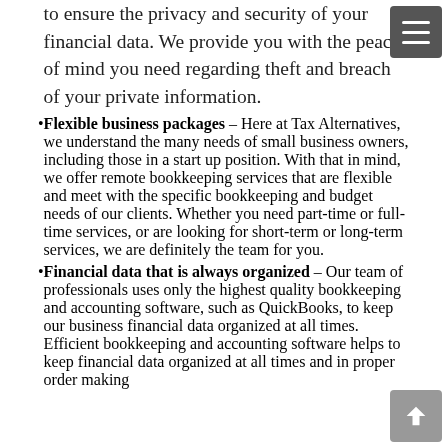to ensure the privacy and security of your financial data. We provide you with the peace of mind you need regarding theft and breach of your private information.
Flexible business packages – Here at Tax Alternatives, we understand the many needs of small business owners, including those in a start up position. With that in mind, we offer remote bookkeeping services that are flexible and meet with the specific bookkeeping and budget needs of our clients. Whether you need part-time or full-time services, or are looking for short-term or long-term services, we are definitely the team for you.
Financial data that is always organized – Our team of professionals uses only the highest quality bookkeeping and accounting software, such as QuickBooks, to keep our business financial data organized at all times. Efficient bookkeeping and accounting software helps to keep financial data organized at all times and in proper order making